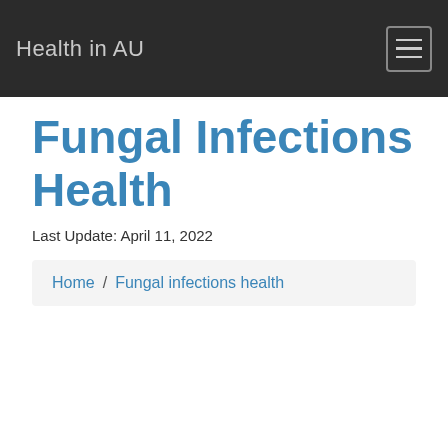Health in AU
Fungal Infections Health
Last Update: April 11, 2022
Home / Fungal infections health